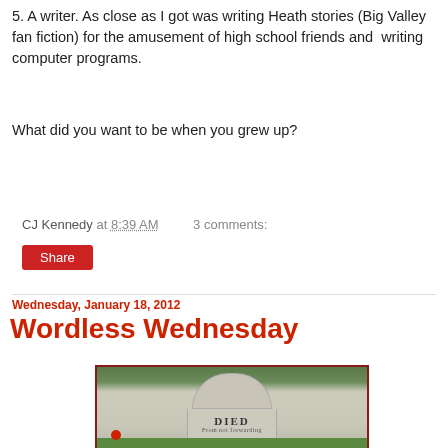5. A writer. As close as I got was writing Heath stories (Big Valley fan fiction) for the amusement of high school friends and  writing computer programs.
What did you want to be when you grew up?
CJ Kennedy at 8:39 AM    3 comments:
Share
Wednesday, January 18, 2012
Wordless Wednesday
[Figure (photo): A gravestone with the text 'DIED' and 'From not forwarding' on it, set in a cemetery with green grass and a red flower nearby.]